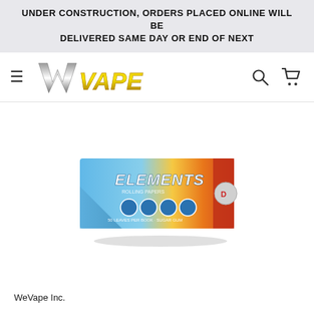UNDER CONSTRUCTION, ORDERS PLACED ONLINE WILL BE DELIVERED SAME DAY OR END OF NEXT
[Figure (logo): WeVape logo with stylized W and VAPE text in gold metallic italic font]
[Figure (photo): Elements rolling papers booklet, blue and orange gradient packaging with ELEMENTS branding and icons]
WeVape Inc.